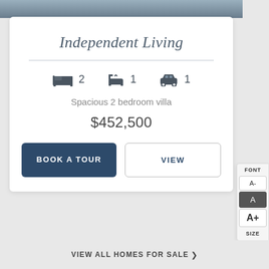[Figure (photo): Interior room photo strip at top of page]
Independent Living
[Figure (infographic): Amenity icons: bed icon x2, bath icon x1, parking icon x1]
Spacious 2 bedroom villa
$452,500
BOOK A TOUR
VIEW
FONT A- A A+ SIZE
VIEW ALL HOMES FOR SALE >